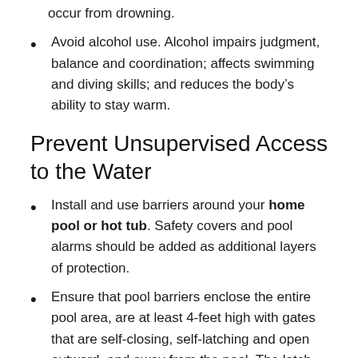occur from drowning.
Avoid alcohol use. Alcohol impairs judgment, balance and coordination; affects swimming and diving skills; and reduces the body's ability to stay warm.
Prevent Unsupervised Access to the Water
Install and use barriers around your home pool or hot tub. Safety covers and pool alarms should be added as additional layers of protection.
Ensure that pool barriers enclose the entire pool area, are at least 4-feet high with gates that are self-closing, self-latching and open outward, and away from the pool. The latch should be high enough to be out of a small child's reach.
If you have an above-ground or inflatable pool, remove access ladders and secure the safety cover whenever the